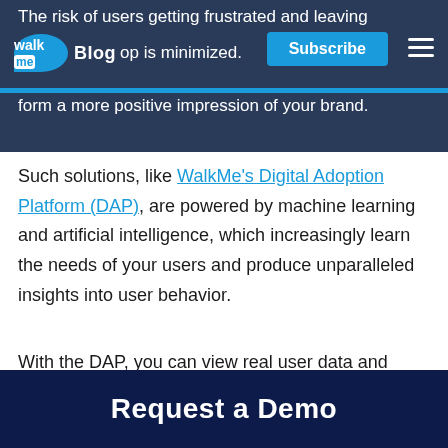The risk of users getting frustrated and leaving. Blog. p is minimized. users form a more positive impression of your brand.
Such solutions, like WalkMe’s Digital Adoption Platform (DAP),  are powered by machine learning and artificial intelligence, which increasingly learn the needs of your users and produce unparalleled insights into user behavior.
With the DAP, you can view real user data and better understand the user journey. From here on you can provide tailored guidance to help
Request a Demo